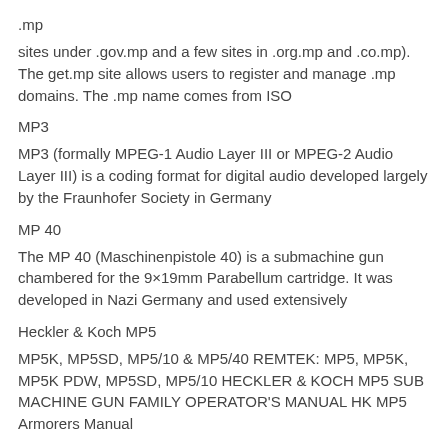.mp
sites under .gov.mp and a few sites in .org.mp and .co.mp). The get.mp site allows users to register and manage .mp domains. The .mp name comes from ISO
MP3
MP3 (formally MPEG-1 Audio Layer III or MPEG-2 Audio Layer III) is a coding format for digital audio developed largely by the Fraunhofer Society in Germany
MP 40
The MP 40 (Maschinenpistole 40) is a submachine gun chambered for the 9×19mm Parabellum cartridge. It was developed in Nazi Germany and used extensively
Heckler & Koch MP5
MP5K, MP5SD, MP5/10 & MP5/40 REMTEK: MP5, MP5K, MP5K PDW, MP5SD, MP5/10 HECKLER & KOCH MP5 SUB MACHINE GUN FAMILY OPERATOR'S MANUAL HK MP5 Armorers Manual
MP2